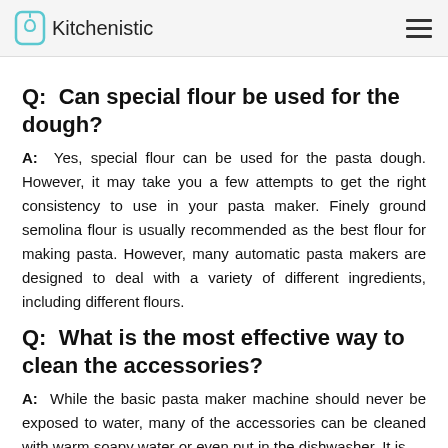Kitchenistic
Q:  Can special flour be used for the dough?
A:  Yes, special flour can be used for the pasta dough. However, it may take you a few attempts to get the right consistency to use in your pasta maker. Finely ground semolina flour is usually recommended as the best flour for making pasta. However, many automatic pasta makers are designed to deal with a variety of different ingredients, including different flours.
Q:  What is the most effective way to clean the accessories?
A:  While the basic pasta maker machine should never be exposed to water, many of the accessories can be cleaned with warm soapy water or even put in the dishwasher. It is